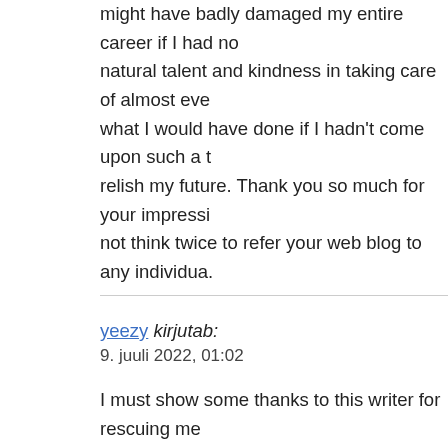might have badly damaged my entire career if I had no natural talent and kindness in taking care of almost eve what I would have done if I hadn't come upon such a t relish my future. Thank you so much for your impressi not think twice to refer your web blog to any individua.
yeezy kirjutab:
9. juuli 2022, 01:02

I must show some thanks to this writer for rescuing me of researching through the internet and obtaining things thinking my entire life was over. Existing minus the so resolved by means of your entire blog post is a crucial might have badly affected my entire career if I had not personal capability and kindness in dealing with every what I would've done if I had not encountered such a s look forward to my future. Thanks very much for this s think twice to recommend the sites to any person who s